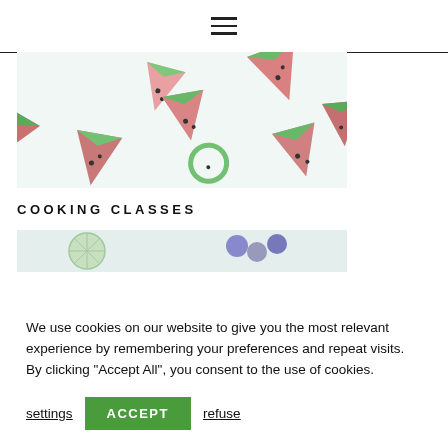≡
[Figure (photo): Watercolor illustration of watermelon slice pieces scattered on a light mint/white background]
COOKING CLASSES
[Figure (photo): Partial view of another food illustration with blue circular elements on a light background]
We use cookies on our website to give you the most relevant experience by remembering your preferences and repeat visits. By clicking "Accept All", you consent to the use of cookies.
settings   ACCEPT   refuse